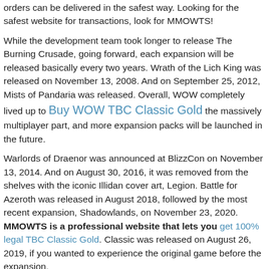orders can be delivered in the safest way. Looking for the safest website for transactions, look for MMOWTS!
While the development team took longer to release The Burning Crusade, going forward, each expansion will be released basically every two years. Wrath of the Lich King was released on November 13, 2008. And on September 25, 2012, Mists of Pandaria was released. Overall, WOW completely lived up to Buy WOW TBC Classic Gold the massively multiplayer part, and more expansion packs will be launched in the future.
Warlords of Draenor was announced at BlizzCon on November 13, 2014. And on August 30, 2016, it was removed from the shelves with the iconic Illidan cover art, Legion. Battle for Azeroth was released in August 2018, followed by the most recent expansion, Shadowlands, on November 23, 2020. MMOWTS is a professional website that lets you get 100% legal TBC Classic Gold. Classic was released on August 26, 2019, if you wanted to experience the original game before the expansion.
According to the previous law, a new WOW expansion will be released soon. Although I don't know what Blizzard will release next, I can definitely believe that its content must be huge.
When choosing to buy MMOW WOW TBC Classic Gold, The...